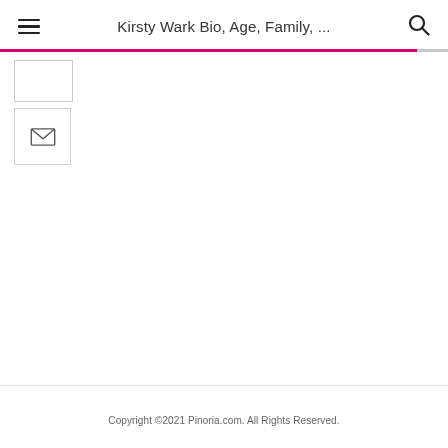Kirsty Wark Bio, Age, Family, ...
[Figure (illustration): Email/envelope icon inside a bordered box (social share button)]
Copyright ©2021 Pinoria.com. All Rights Reserved.